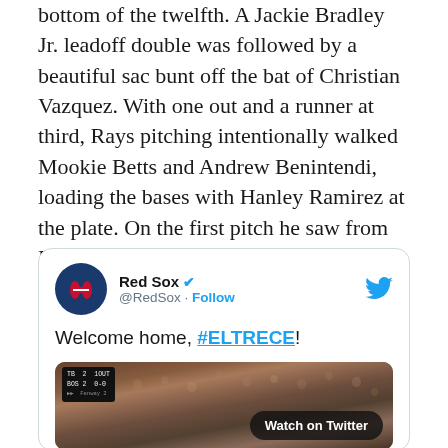bottom of the twelfth. A Jackie Bradley Jr. leadoff double was followed by a beautiful sac bunt off the bat of Christian Vazquez. With one out and a runner at third, Rays pitching intentionally walked Mookie Betts and Andrew Benintendi, loading the bases with Hanley Ramirez at the plate. On the first pitch he saw from Ryan Yarbrough, Ramirez ended things by lining a walk off single to right field, scoring Bradley and giving the Red Sox the 3-2 win.
[Figure (screenshot): Embedded tweet from @RedSox account showing 'Welcome home, #ELTRECE!' with a video thumbnail of a crowd at a baseball stadium with a scoreboard showing TB 2, BOS 2, and a 'Watch on Twitter' button.]